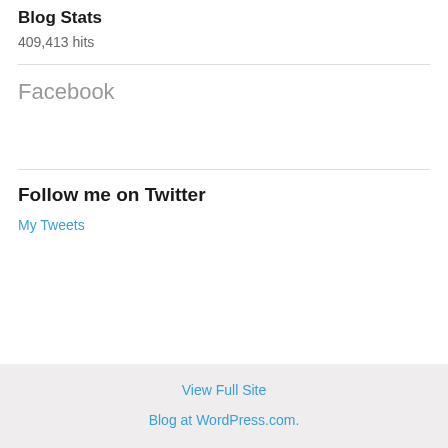Blog Stats
409,413 hits
Facebook
Follow me on Twitter
My Tweets
View Full Site
Blog at WordPress.com.